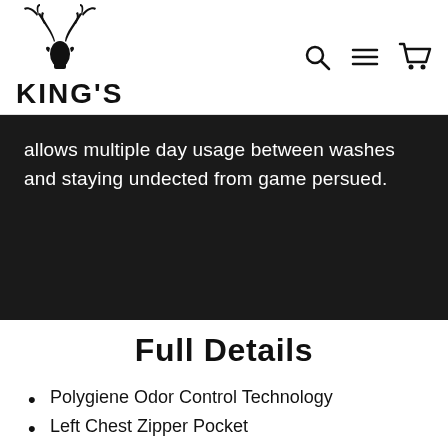[Figure (logo): King's Camo logo with elk antler silhouette above the text KING'S]
[Figure (other): Navigation icons: search magnifying glass, hamburger menu, and shopping cart]
allows multiple day usage between washes and staying undected from game persued.
Full Details
Polygiene Odor Control Technology
Left Chest Zipper Pocket